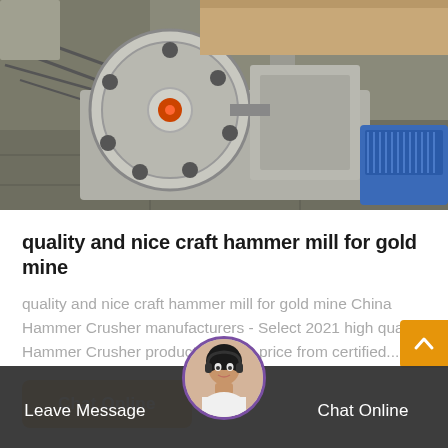[Figure (photo): Industrial hammer mill machine for gold mining, showing a large grey metal flywheel with a red center cap and circular holes, mounted on a metal base frame. A blue electric motor is visible in the lower right. Workshop setting with metal tools in the background.]
quality and nice craft hammer mill for gold mine
quality and nice craft hammer mill for gold mine China Hammer Crusher manufacturers - Select 2021 high quality Hammer Crusher products in best price from certified...
Chat Online
Leave Message
Chat Online